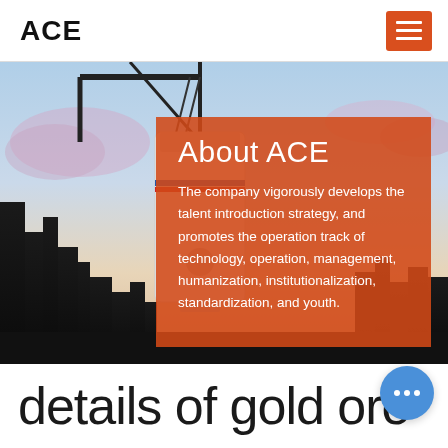ACE
[Figure (photo): Industrial crane and equipment against a sky background with orange overlay box containing About ACE text]
About ACE
The company vigorously develops the talent introduction strategy, and promotes the operation track of technology, operation, management, humanization, institutionalization, standardization, and youth.
details of gold ore